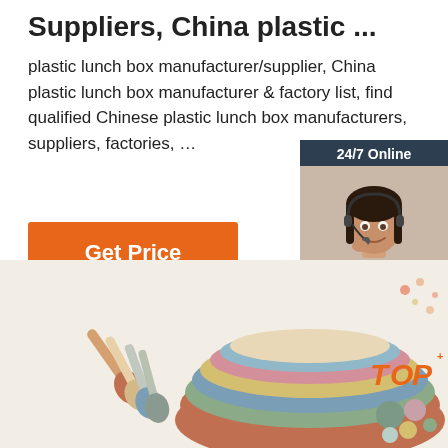Suppliers, China plastic ...
plastic lunch box manufacturer/supplier, China plastic lunch box manufacturer & factory list, find qualified Chinese plastic lunch box manufacturers, suppliers, factories, …
[Figure (infographic): Orange 'Get Price' button]
[Figure (infographic): Customer support chat widget with photo of woman wearing headset, '24/7 Online' header, 'Click here for free chat!' text, and orange QUOTATION button]
[Figure (photo): Product photo showing colorful silicone baby spoons and stacked silicone plates/bowls in muted colors (terracotta, sage, blue, yellow, pink) with a TOP badge in the bottom right corner]